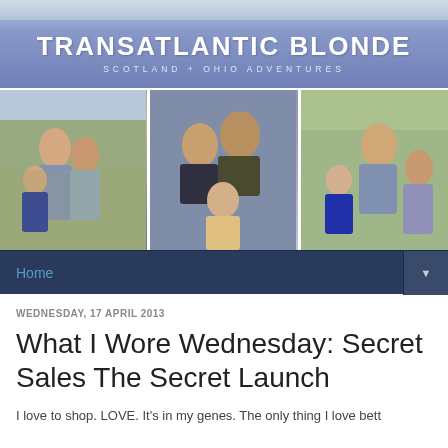TRANSATLANTIC BLONDE
SCOTLAND + OHIO ADVENTURES
[Figure (photo): Three family photo panels side by side: left shows woman and two children outdoors, center shows family selfie with boy, woman, man and young girl, right shows woman with two children outdoors]
Home
WEDNESDAY, 17 APRIL 2013
What I Wore Wednesday: Secret Sales The Secret Launch
I love to shop. LOVE. It's in my genes. The only thing I love bett